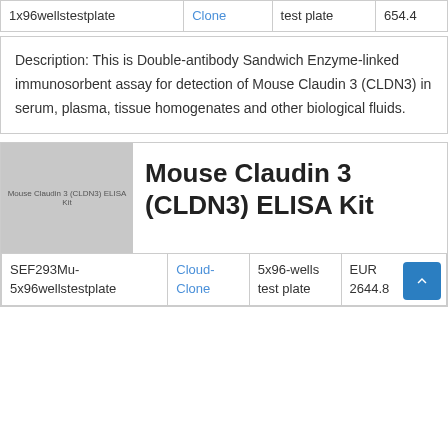| 1x96wellstestplate | Clone | test plate | 654.4 |
Description: This is Double-antibody Sandwich Enzyme-linked immunosorbent assay for detection of Mouse Claudin 3 (CLDN3) in serum, plasma, tissue homogenates and other biological fluids.
[Figure (photo): Product image placeholder for Mouse Claudin 3 (CLDN3) ELISA Kit showing grey square with text label]
Mouse Claudin 3 (CLDN3) ELISA Kit
| SEF293Mu-5x96wellstestplate | Cloud-Clone | 5x96-wells test plate | EUR 2644.8 |